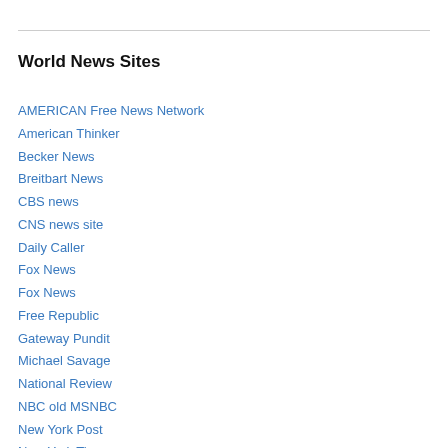World News Sites
AMERICAN Free News Network
American Thinker
Becker News
Breitbart News
CBS news
CNS news site
Daily Caller
Fox News
Fox News
Free Republic
Gateway Pundit
Michael Savage
National Review
NBC old MSNBC
New York Post
New York Times